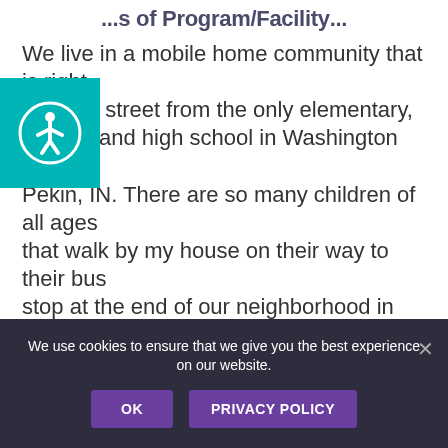...s of Program/Facility...
We live in a mobile home community that is right across the street from the only elementary, middle, and high school in Washington County, Pekin, IN. There are so many children of all ages that walk by my house on their way to their bus stop at the end of our neighborhood in the mornings, and again on the way home from the bus in the afternoons. I definitely feel like the children (and there are a lot!), including my own, and even adults in our community would enjoy...
[Figure (other): Accessibility icon: circular teal button with a person/wheelchair symbol in white]
We use cookies to ensure that we give you the best experience on our website.
OK   PRIVACY POLICY